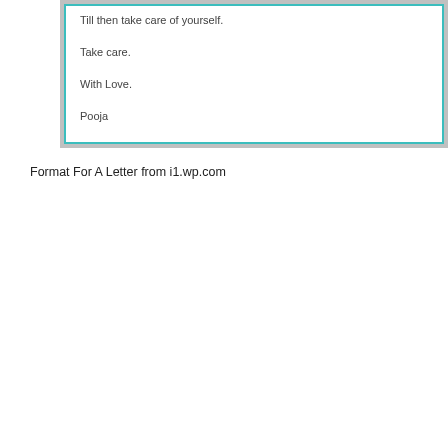[Figure (screenshot): Partial letter image showing closing lines: 'Till then take care of yourself.', 'Take care.', 'With Love.', 'Pooja' inside a teal-bordered box within a gray outer frame.]
Format For A Letter from i1.wp.com